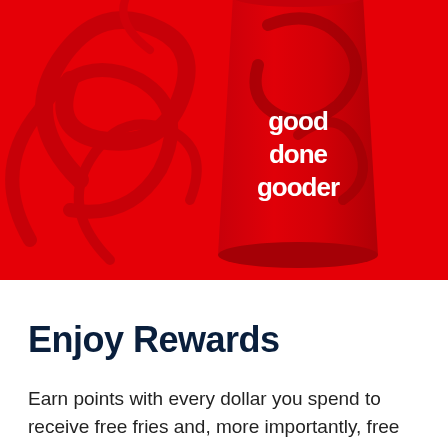[Figure (photo): A red beverage cup with white text reading 'good done gooder' on a bright red background with decorative dark red swirl patterns.]
Enjoy Rewards
Earn points with every dollar you spend to receive free fries and, more importantly, free